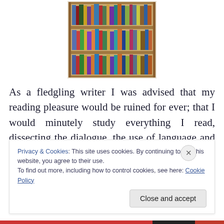[Figure (photo): A wooden bookshelf filled with books of various colors and sizes, viewed at an angle]
As a fledgling writer I was advised that my reading pleasure would be ruined for ever; that I would minutely study everything I read, dissecting the dialogue, the use of language and vocabulary, the narrative style, to determine how it worked. I would treat every novel as a lesson. And I
Privacy & Cookies: This site uses cookies. By continuing to use this website, you agree to their use.
To find out more, including how to control cookies, see here: Cookie Policy
Close and accept